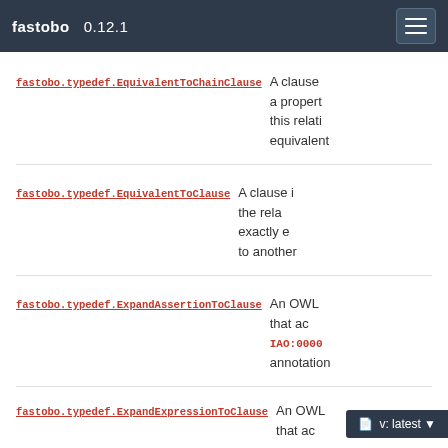fastobo 0.12.1
fastobo.typedef.EquivalentToChainClause — A clause a propert this relati equivalent
fastobo.typedef.EquivalentToClause — A clause i the rela exactly e to another
fastobo.typedef.ExpandAssertionToClause — An OWL that ac IAO:0000 annotation
fastobo.typedef.ExpandExpressionToClause — An OWL that ac